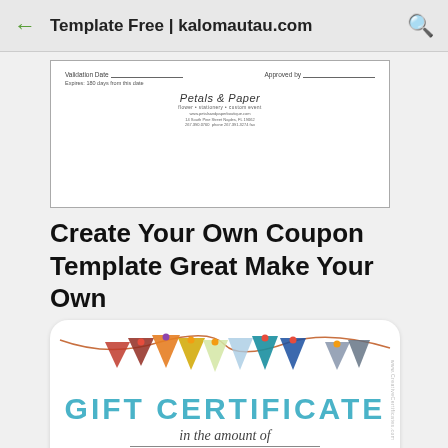Template Free | kalomautau.com
[Figure (screenshot): Coupon template preview showing Petals & Paper boutique gift certificate with Validation Date, Expires 180 days from this date, and Approved by fields]
Create Your Own Coupon Template Great Make Your Own
[Figure (photo): Gift certificate template with colorful bunting/pennant banner decoration across the top, teal GIFT CERTIFICATE text, italic 'in the amount of' subtitle, underline, and To: From: fields at the bottom]